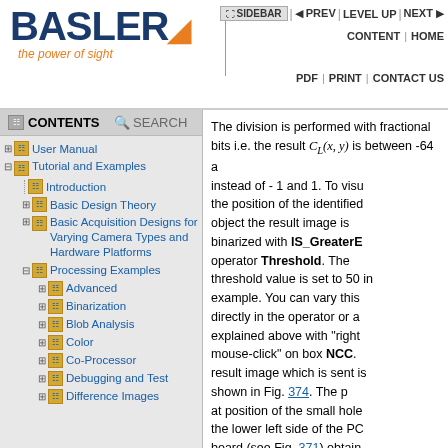[Figure (logo): Basler logo with tagline 'the power of sight' and navigation bar]
SIDEBAR | PREV | LEVEL UP | NEXT | CONTENT | HOME | PDF | PRINT | CONTACT US
User Manual
Tutorial and Examples
Introduction
Basic Design Theory
Basic Acquisition Designs for Varying Camera Types and Hardware Platforms
Processing Examples
Advanced
Binarization
Blob Analysis
Color
Co-Processor
Debugging and Test
Difference Images
The division is performed with fractional bits i.e. the result C_L(x,y) is between -64 a instead of - 1 and 1. To visualize the position of the identified object the result image is binarized with IS_GreaterE operator Threshold. The threshold value is set to 50 in example. You can vary this directly in the operator or as explained above with "right mouse-click" on box NCC. result image which is sent is shown in Fig. 374. The p at position of the small hole the lower left side of the PC board (see Fig. 371) obtain "1" and all other pixels "0" result image is sent via DM PC. Instead of this it can a